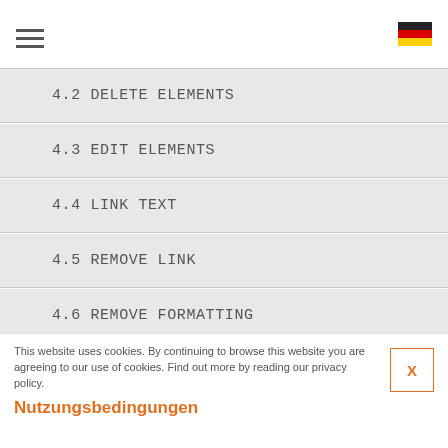Navigation menu header with hamburger icon and German flag
4.2 DELETE ELEMENTS
4.3 EDIT ELEMENTS
4.4 LINK TEXT
4.5 REMOVE LINK
4.6 REMOVE FORMATTING
4.7 LINKING TO TELEPHONE NUMBER
This website uses cookies. By continuing to browse this website you are agreeing to our use of cookies. Find out more by reading our privacy policy.
Nutzungsbedingungen